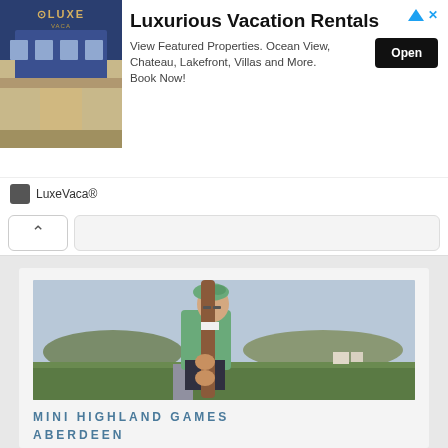[Figure (screenshot): Advertisement banner for LuxeVaca luxury vacation rentals with property image on left and text/open button on right]
LuxeVaca®
[Figure (screenshot): Navigation bar with back chevron button and search bar]
[Figure (photo): Person wearing green beret and green sweater hugging a large wooden caber pole outdoors with Scottish highland landscape in background]
MINI HIGHLAND GAMES ABERDEEN